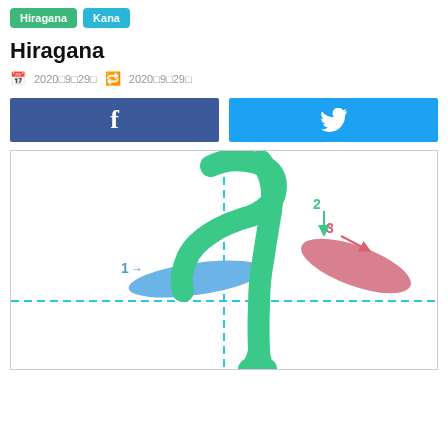Hiragana  Kana
Hiragana
2020年9月29日  2020年9月29日
[Figure (other): Facebook share button (dark blue with f icon) and Twitter share button (light blue with bird icon)]
[Figure (illustration): Hiragana character stroke order diagram showing strokes 1, 2, 3 with colored arrows on a grid with dashed center lines. Stroke 1 (blue, horizontal arrow), Stroke 2 (teal/green, vertical arrow), Stroke 3 (pink/red, diagonal arrow). The character appears to be 'wa' (わ) in hiragana.]